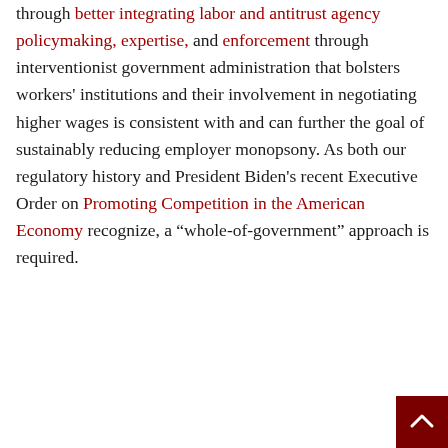through better integrating labor and antitrust agency policymaking, expertise, and enforcement through interventionist government administration that bolsters workers' institutions and their involvement in negotiating higher wages is consistent with and can further the goal of sustainably reducing employer monopsony. As both our regulatory history and President Biden's recent Executive Order on Promoting Competition in the American Economy recognize, a “whole-of-government” approach is required.